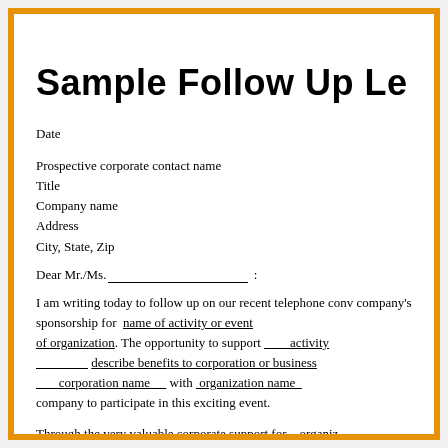Sample Follow Up Le
Date
Prospective corporate contact name
Title
Company name
Address
City, State, Zip
Dear Mr./Ms._________________;
I am writing today to follow up on our recent telephone conv company's sponsorship for name of activity or event of organization. The opportunity to support activity describe benefits to corporation or business corporation name with organization name company to participate in this exciting event.
Through the very valuable corporate support for organiz receives, we are able to enhance and foster what matters mos pertinent parts of mission or vision. The investment by